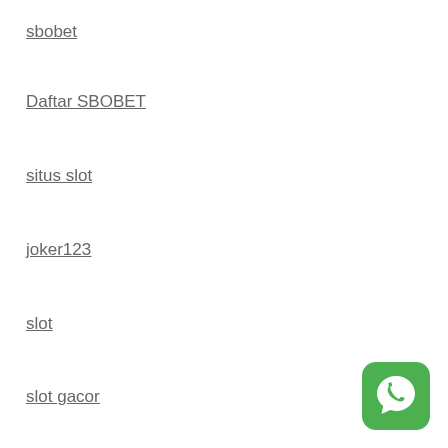sbobet
Daftar SBOBET
situs slot
joker123
slot
slot gacor
[Figure (illustration): WhatsApp icon button - green rounded square with white speech bubble phone icon]